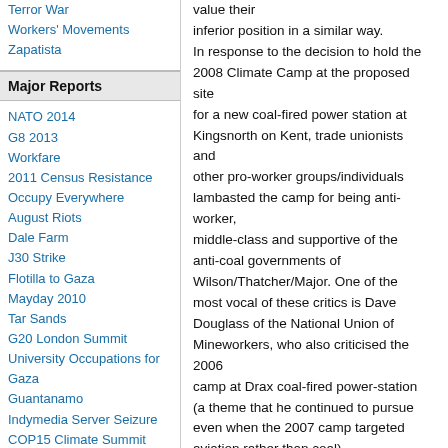Terror War
Workers' Movements
Zapatista
Major Reports
NATO 2014
G8 2013
Workfare
2011 Census Resistance
Occupy Everywhere
August Riots
Dale Farm
J30 Strike
Flotilla to Gaza
Mayday 2010
Tar Sands
G20 London Summit
University Occupations for Gaza
Guantanamo
Indymedia Server Seizure
COP15 Climate Summit
value their inferior position in a similar way. In response to the decision to hold the 2008 Climate Camp at the proposed site for a new coal-fired power station at Kingsnorth on Kent, trade unionists and other pro-worker groups/individuals lambasted the camp for being anti-worker, middle-class and supportive of the anti-coal governments of Wilson/Thatcher/Major. One of the most vocal of these critics is Dave Douglass of the National Union of Mineworkers, who also criticised the 2006 camp at Drax coal-fired power-station (a theme that he continued to pursue even when the 2007 camp targeted aviation rather than coal). This pamphlet is a response not just to Dave's criticisms of Climate Camp but to the worrying perception that the demands of labour in the present